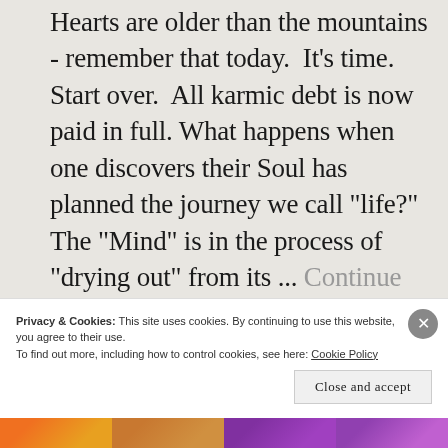Hearts are older than the mountains - remember that today. It's time. Start over. All karmic debt is now paid in full. What happens when one discovers their Soul has planned the journey we call "life?" The "Mind" is in the process of "drying out" from its ... Continue reading →
Privacy & Cookies: This site uses cookies. By continuing to use this website, you agree to their use.
To find out more, including how to control cookies, see here: Cookie Policy
Close and accept
[Figure (illustration): Decorative colored banner at the bottom of the page with orange, brown, and purple sections with small ornamental patterns]